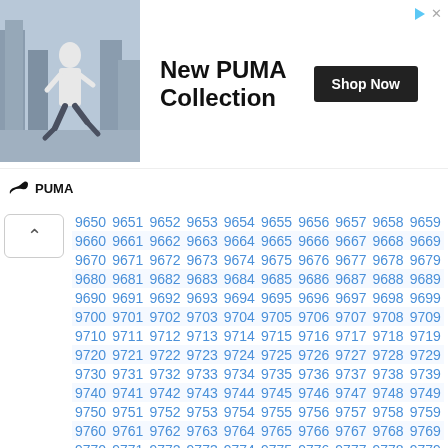[Figure (photo): PUMA advertisement banner with a person running in a city street wearing white PUMA clothing. Text reads 'New PUMA Collection' with a 'Shop Now' button. PUMA logo at bottom left.]
| 9650 | 9651 | 9652 | 9653 | 9654 | 9655 | 9656 | 9657 | 9658 | 9659 |
| 9660 | 9661 | 9662 | 9663 | 9664 | 9665 | 9666 | 9667 | 9668 | 9669 |
| 9670 | 9671 | 9672 | 9673 | 9674 | 9675 | 9676 | 9677 | 9678 | 9679 |
| 9680 | 9681 | 9682 | 9683 | 9684 | 9685 | 9686 | 9687 | 9688 | 9689 |
| 9690 | 9691 | 9692 | 9693 | 9694 | 9695 | 9696 | 9697 | 9698 | 9699 |
| 9700 | 9701 | 9702 | 9703 | 9704 | 9705 | 9706 | 9707 | 9708 | 9709 |
| 9710 | 9711 | 9712 | 9713 | 9714 | 9715 | 9716 | 9717 | 9718 | 9719 |
| 9720 | 9721 | 9722 | 9723 | 9724 | 9725 | 9726 | 9727 | 9728 | 9729 |
| 9730 | 9731 | 9732 | 9733 | 9734 | 9735 | 9736 | 9737 | 9738 | 9739 |
| 9740 | 9741 | 9742 | 9743 | 9744 | 9745 | 9746 | 9747 | 9748 | 9749 |
| 9750 | 9751 | 9752 | 9753 | 9754 | 9755 | 9756 | 9757 | 9758 | 9759 |
| 9760 | 9761 | 9762 | 9763 | 9764 | 9765 | 9766 | 9767 | 9768 | 9769 |
| 9770 | 9771 | 9772 | 9773 | 9774 | 9775 | 9776 | 9777 | 9778 | 9779 |
| 9780 | 9781 | 9782 | 9783 | 9784 | 9785 | 9786 | 9787 | 9788 | 9789 |
| 9790 | 9791 | 9792 | 9793 | 9794 | 9795 | 9796 | 9797 | 9798 | 9799 |
| 9800 | 9801 | 9802 | 9803 | 9804 | 9805 | 9806 | 9807 | 9808 | 9809 |
| 9810 | 9811 | 9812 | 9813 | 9814 | 9815 | 9816 | 9817 | 9818 | 9819 |
| 9820 | 9821 | 9822 | 9823 | 9824 | 9825 | 9826 | 9827 | 9828 | 9829 |